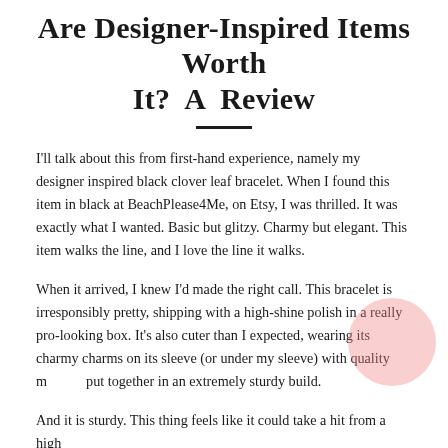Are Designer-Inspired Items Worth It? A Review
I'll talk about this from first-hand experience, namely my designer inspired black clover leaf bracelet. When I found this item in black at BeachPlease4Me, on Etsy, I was thrilled. It was exactly what I wanted. Basic but glitzy. Charmy but elegant. This item walks the line, and I love the line it walks.
When it arrived, I knew I'd made the right call. This bracelet is irresponsibly pretty, shipping with a high-shine polish in a really pro-looking box. It's also cuter than I expected, wearing its charmy charms on its sleeve (or under my sleeve) with quality m put together in an extremely sturdy build.
And it is sturdy. This thing feels like it could take a hit from a high